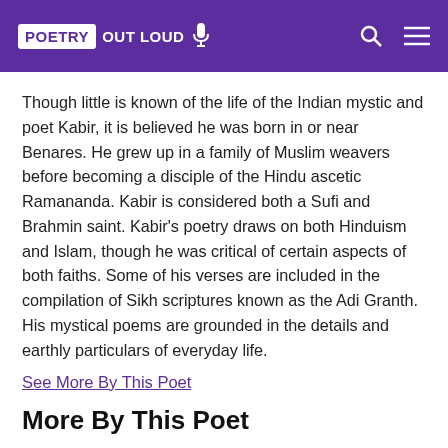POETRY OUT LOUD
Though little is known of the life of the Indian mystic and poet Kabir, it is believed he was born in or near Benares. He grew up in a family of Muslim weavers before becoming a disciple of the Hindu ascetic Ramananda. Kabir is considered both a Sufi and Brahmin saint. Kabir's poetry draws on both Hinduism and Islam, though he was critical of certain aspects of both faiths. Some of his verses are included in the compilation of Sikh scriptures known as the Adi Granth. His mystical poems are grounded in the details and earthly particulars of everyday life.
See More By This Poet
More By This Poet